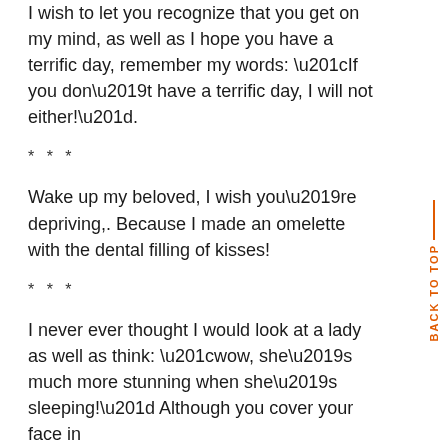I wish to let you recognize that you get on my mind, as well as I hope you have a terrific day, remember my words: “If you don’t have a terrific day, I will not either!”.
* * *
Wake up my beloved, I wish you’re depriving,. Because I made an omelette with the dental filling of kisses!
* * *
I never ever thought I would look at a lady as well as think: “wow, she’s much more stunning when she’s sleeping!” Although you cover your face in